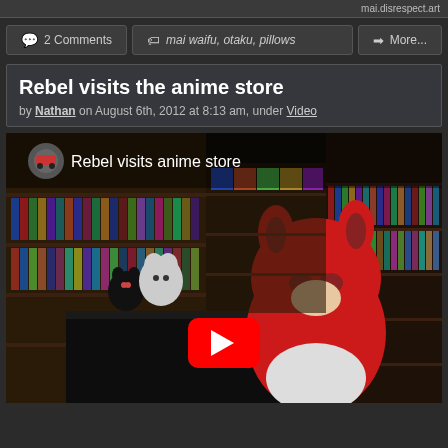mai.disrespect.art
2 Comments
mai waifu, otaku, pillows
More...
Rebel visits the anime store
by Nathan on August 6th, 2012 at 8:13 am, under Video
[Figure (screenshot): YouTube video embed showing 'Rebel visits anime store' video thumbnail — an anime store interior with shelves of manga/DVDs and a person in a red fursuit/mascot costume, with a red YouTube play button overlay]